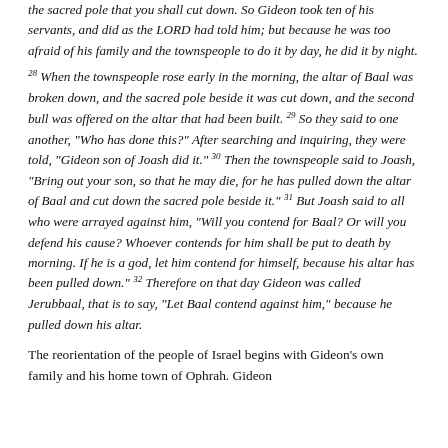the sacred pole that you shall cut down. So Gideon took ten of his servants, and did as the LORD had told him; but because he was too afraid of his family and the townspeople to do it by day, he did it by night.
28 When the townspeople rose early in the morning, the altar of Baal was broken down, and the sacred pole beside it was cut down, and the second bull was offered on the altar that had been built. 29 So they said to one another, "Who has done this?" After searching and inquiring, they were told, "Gideon son of Joash did it." 30 Then the townspeople said to Joash, "Bring out your son, so that he may die, for he has pulled down the altar of Baal and cut down the sacred pole beside it." 31 But Joash said to all who were arrayed against him, "Will you contend for Baal? Or will you defend his cause? Whoever contends for him shall be put to death by morning. If he is a god, let him contend for himself, because his altar has been pulled down." 32 Therefore on that day Gideon was called Jerubbaal, that is to say, "Let Baal contend against him," because he pulled down his altar.
The reorientation of the people of Israel begins with Gideon's own family and his home town of Ophrah. Gideon...